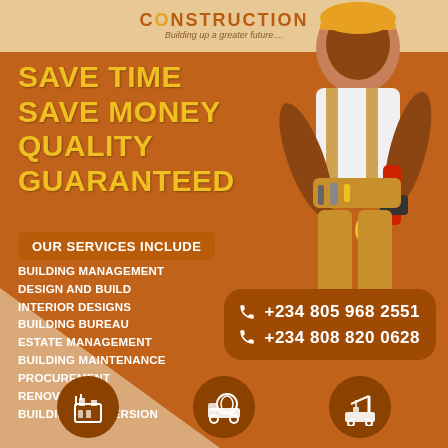[Figure (logo): Construction company logo with gear icon, company name CONSTRUCTION, tagline Building up a greater future....]
SAVE TIME
SAVE MONEY
QUALITY
GUARANTEED
OUR SERVICES INCLUDE
BUILDING MANAGEMENT
DESIGN AND BUILD
INTERIOR DESIGNS
BUILDING BUREAU
ESTATE MANAGEMENT
BUILDING MAINTENANCE
PROCUREMENT
RENOVATION
BUILDING CONVERSION
+234 805 968 2551
+234 808 820 0628
[Figure (illustration): Three circular icons at bottom: factory/building icon, cement mixer truck icon, crane/excavator icon]
[Figure (photo): Construction worker in orange hard hat and overalls holding a power drill, smiling]